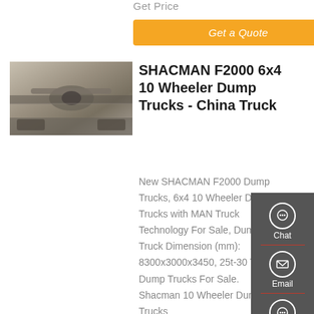Get Price
Get a Quote
[Figure (photo): Undercarriage/axle view of a SHACMAN F2000 dump truck, showing the differential, axle, and suspension components from below.]
SHACMAN F2000 6x4 10 Wheeler Dump Trucks - China Truck
New SHACMAN F2000 Dump Trucks, 6x4 10 Wheeler Dump Trucks with MAN Truck Technology For Sale, Dump Truck Dimension (mm): 8300x3000x3450, 25t-30 Tons Dump Trucks For Sale. Shacman 10 Wheeler Dump Trucks
Chat
Email
Contact
Top